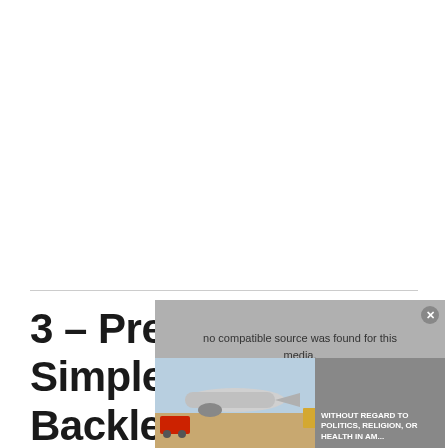3 – Pretty + Simple Backless Gown
[Figure (screenshot): A video player overlay showing 'no compatible source was found for this media.' with a close button (x), overlapping with an advertisement showing an airplane cargo scene and text 'WITHOUT REGARD TO POLITICS, RELIGION, OR WEALTH IN AM...']